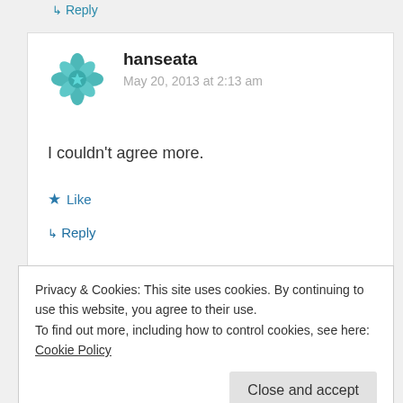↳ Reply
hanseata
May 20, 2013 at 2:13 am
I couldn't agree more.
★ Like
↳ Reply
Privacy & Cookies: This site uses cookies. By continuing to use this website, you agree to their use.
To find out more, including how to control cookies, see here: Cookie Policy
Close and accept
These look as perfect as everything you make!